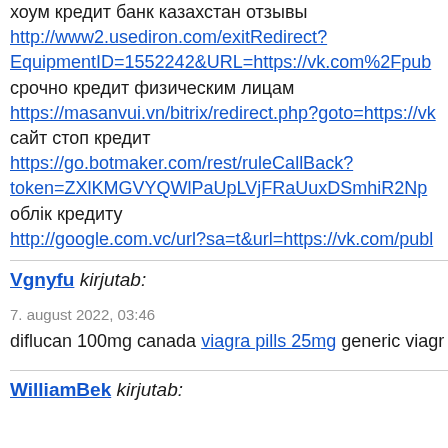хоум кредит банк казахстан отзывы
http://www2.usediron.com/exitRedirect?EquipmentID=1552242&URL=https://vk.com%2Fpub
срочно кредит физическим лицам
https://masanvui.vn/bitrix/redirect.php?goto=https://vk
сайт стоп кредит
https://go.botmaker.com/rest/ruleCallBack?token=ZXlKMGVYQWlPaUpLVjFRaUuxDSmhiR2Np
облік кредиту
http://google.com.vc/url?sa=t&url=https://vk.com/publ
Vgnyfu kirjutab:
7. august 2022, 03:46
diflucan 100mg canada viagra pills 25mg generic viagr
WilliamBek kirjutab: